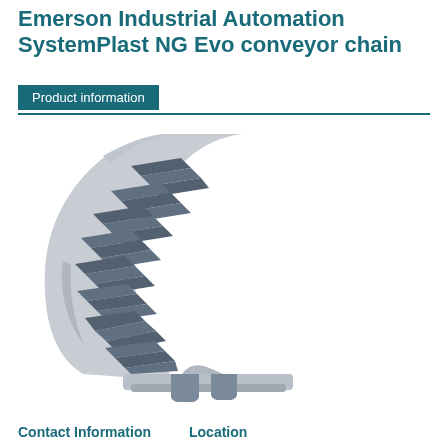Emerson Industrial Automation SystemPlast NG Evo conveyor chain
Product information
[Figure (photo): A curved section of SystemPlast NG Evo conveyor chain showing interlocking blue-grey plastic chain links arranged in a crescent/arc shape, with grey side rails visible at the bottom]
Contact Information   Location